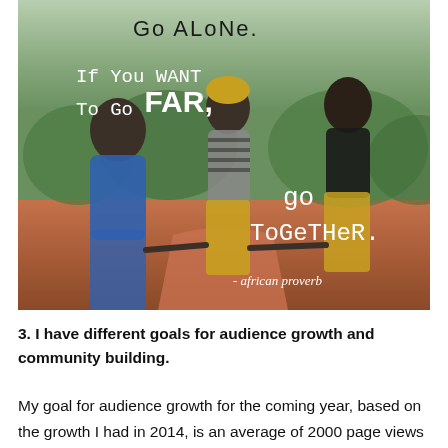[Figure (photo): Three African women holding hands on a dirt road with greenery behind them. Text overlaid reads: 'Go Alone. If you want To Go FAR, go Together. - african proverb']
3. I have different goals for audience growth and community building.
My goal for audience growth for the coming year, based on the growth I had in 2014, is an average of 2000 page views a month, and average daily page views of 100 a year by the end of 2015. When I've reached that target, or